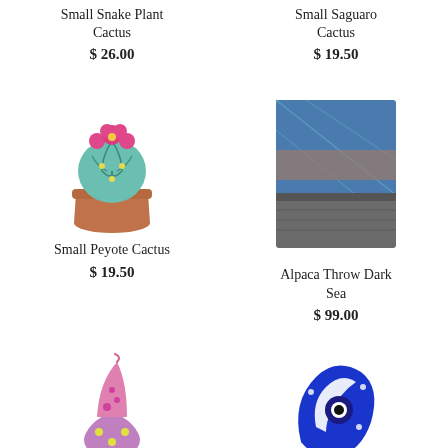Small Snake Plant Cactus
$ 26.00
Small Saguaro Cactus
$ 19.50
[Figure (photo): Small felt peyote cactus in terracotta pot with pink flowers]
Small Peyote Cactus
$ 19.50
[Figure (photo): Alpaca throw blanket in dark sea color, blue and grey tones]
Alpaca Throw Dark Sea
$ 99.00
[Figure (photo): Pink felt gnome figurine with polka dots]
[Figure (photo): Blue glass evil eye ornament]